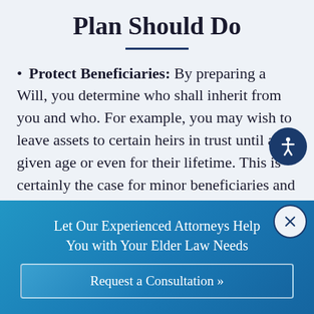Plan Should Do
Protect Beneficiaries: By preparing a Will, you determine who shall inherit from you and who. For example, you may wish to leave assets to certain heirs in trust until a given age or even for their lifetime. This is certainly the case for minor beneficiaries and typically the case in blended families. This is also very important for children
Let Our Experienced Attorneys Help You with Your Elder Law Needs
Request a Consultation »